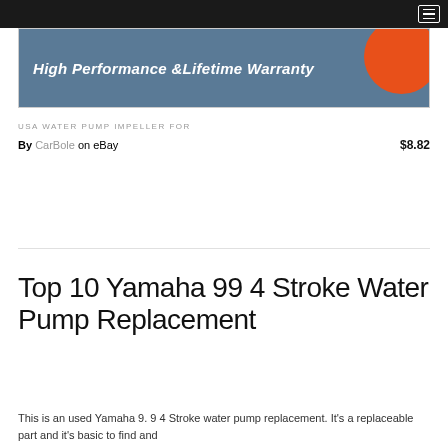[Figure (photo): Banner image with blue-gray background, text 'High Performance &Lifetime Warranty' in white bold italic, and an orange circular graphic on the right side.]
USA WATER PUMP IMPELLER FOR
By CarBole on eBay   $8.82
Top 10 Yamaha 99 4 Stroke Water Pump Replacement
This is an used Yamaha 9. 9 4 Stroke water pump replacement. It's a replaceable part and it's basic to find and